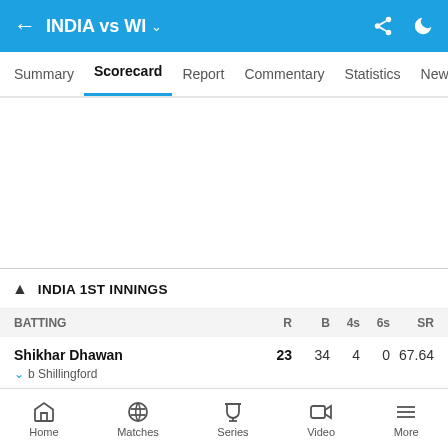INDIA vs WI
Summary  Scorecard  Report  Commentary  Statistics  News
INDIA 1ST INNINGS
| BATTING | R | B | 4s | 6s | SR |
| --- | --- | --- | --- | --- | --- |
| Shikhar Dhawan  b Shillingford | 23 | 34 | 4 | 0 | 67.64 |
Home  Matches  Series  Video  More